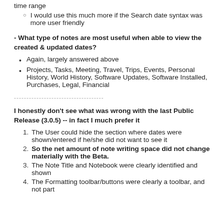time range
I would use this much more if the Search date syntax was more user friendly
- What type of notes are most useful when able to view the created & updated dates?
Again, largely answered above
Projects, Tasks, Meeting, Travel, Trips, Events, Personal History, World History, Software Updates, Software Installed, Purchases, Legal, Financial
-----------------------------------
I honestly don't see what was wrong with the last Public Release (3.0.5) -- in fact I much prefer it
The User could hide the section where dates were shown/entered if he/she did not want to see it
So the net amount of note writing space did not change materially with the Beta.
The Note Title and Notebook were clearly identified and shown
The Formatting toolbar/buttons were clearly a toolbar, and not part